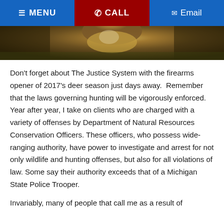≡ MENU   📞 CALL   ✉ Email
[Figure (photo): Close-up photo of a deer, showing its fur and face in a natural outdoor setting with blurred background.]
Don't forget about The Justice System with the firearms opener of 2017's deer season just days away.  Remember that the laws governing hunting will be vigorously enforced. Year after year, I take on clients who are charged with a variety of offenses by Department of Natural Resources Conservation Officers. These officers, who possess wide-ranging authority, have power to investigate and arrest for not only wildlife and hunting offenses, but also for all violations of law. Some say their authority exceeds that of a Michigan State Police Trooper.
Invariably, many of people that call me as a result of